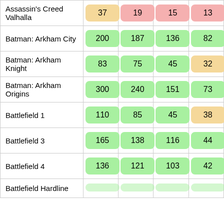| Game | Col1 | Col2 | Col3 | Col4 |
| --- | --- | --- | --- | --- |
| Assassin's Creed Valhalla | 37 | 19 | 15 | 13 |
| Batman: Arkham City | 200 | 187 | 136 | 82 |
| Batman: Arkham Knight | 83 | 75 | 45 | 32 |
| Batman: Arkham Origins | 300 | 240 | 151 | 73 |
| Battlefield 1 | 110 | 85 | 45 | 38 |
| Battlefield 3 | 165 | 138 | 116 | 44 |
| Battlefield 4 | 136 | 121 | 103 | 42 |
| Battlefield Hardline | ... | ... | ... | ... |